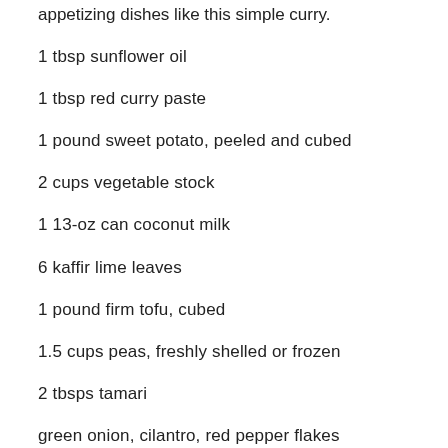appetizing dishes like this simple curry.
1 tbsp sunflower oil
1 tbsp red curry paste
1 pound sweet potato, peeled and cubed
2 cups vegetable stock
1 13-oz can coconut milk
6 kaffir lime leaves
1 pound firm tofu, cubed
1.5 cups peas, freshly shelled or frozen
2 tbsps tamari
green onion, cilantro, red pepper flakes